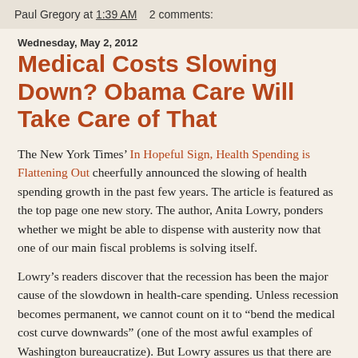Paul Gregory at 1:39 AM   2 comments:
Wednesday, May 2, 2012
Medical Costs Slowing Down? Obama Care Will Take Care of That
The New York Times’ In Hopeful Sign, Health Spending is Flattening Out cheerfully announced the slowing of health spending growth in the past few years. The article is featured as the top page one new story. The author, Anita Lowry, ponders whether we might be able to dispense with austerity now that one of our main fiscal problems is solving itself.
Lowry’s readers discover that the recession has been the major cause of the slowdown in health-care spending. Unless recession becomes permanent, we cannot count on it to “bend the medical cost curve downwards” (one of the most awful examples of Washington bureaucratize). But Lowry assures us that there are other factors “changing the behavior by consumers and health care